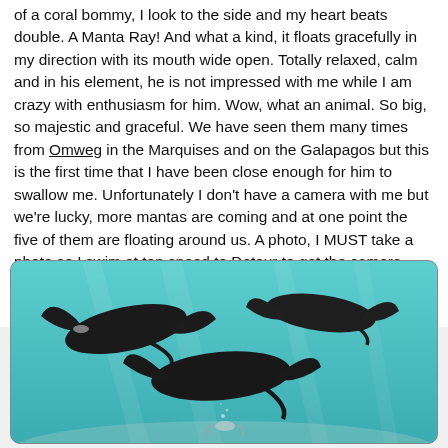of a coral bommy, I look to the side and my heart beats double. A Manta Ray! And what a kind, it floats gracefully in my direction with its mouth wide open. Totally relaxed, calm and in his element, he is not impressed with me while I am crazy with enthusiasm for him. Wow, what an animal. So big, so majestic and graceful. We have seen them many times from Omweg in the Marquises and on the Galapagos but this is the first time that I have been close enough for him to swallow me. Unfortunately I don't have a camera with me but we're lucky, more mantas are coming and at one point the five of them are floating around us. A photo, I MUST take a photo so I swim at top speed to Detour to get the camera. When I return there are four more mantas and they stay for a long time. Wow....
[Figure (photo): Underwater photo showing multiple manta rays swimming in turquoise/cyan water, viewed from below, with a diver visible at the bottom.]